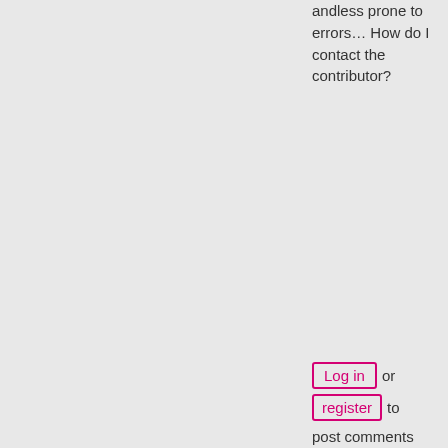andless prone to errors… How do I contact the contributor?
Log in or register to post comments
[Figure (photo): Profile photo of user 'tim' - young man outdoors with sky and landscape in background]
tim
Mon, 01/30/2017 - 14:04
permalink
Hi Thomas, feel free to
Hi Thomas, feel free to